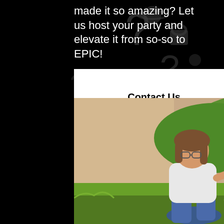made it so amazing? Let us host your party and elevate it from so-so to EPIC!
Contact Us
[Figure (photo): Two children sitting outdoors. One child (left) is whispering into the ear of the other child (right) who is smiling. Both wear white shirts and blue jeans. Green trees and garden background.]